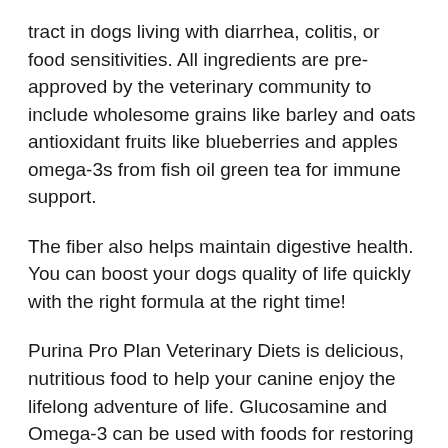tract in dogs living with diarrhea, colitis, or food sensitivities. All ingredients are pre-approved by the veterinary community to include wholesome grains like barley and oats antioxidant fruits like blueberries and apples omega-3s from fish oil green tea for immune support.
The fiber also helps maintain digestive health. You can boost your dogs quality of life quickly with the right formula at the right time!
Purina Pro Plan Veterinary Diets is delicious, nutritious food to help your canine enjoy the lifelong adventure of life. Glucosamine and Omega-3 can be used with foods for restoring joint mobility in dogs with arthritis conditions. These formulas are tested at US Purina facilities, so you know theyll taste great while being healthy all the same!